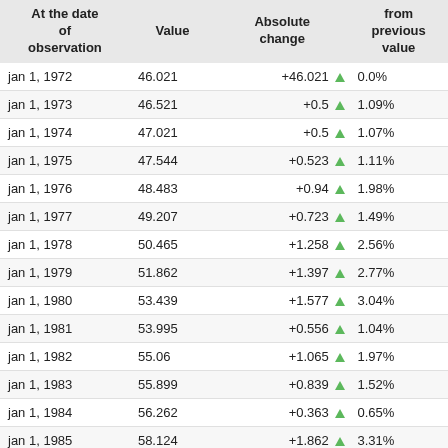| At the date of observation | Value | Absolute change | from previous value |
| --- | --- | --- | --- |
| jan 1, 1972 | 46.021 | +46.021 ▲ | 0.0% |
| jan 1, 1973 | 46.521 | +0.5 ▲ | 1.09% |
| jan 1, 1974 | 47.021 | +0.5 ▲ | 1.07% |
| jan 1, 1975 | 47.544 | +0.523 ▲ | 1.11% |
| jan 1, 1976 | 48.483 | +0.94 ▲ | 1.98% |
| jan 1, 1977 | 49.207 | +0.723 ▲ | 1.49% |
| jan 1, 1978 | 50.465 | +1.258 ▲ | 2.56% |
| jan 1, 1979 | 51.862 | +1.397 ▲ | 2.77% |
| jan 1, 1980 | 53.439 | +1.577 ▲ | 3.04% |
| jan 1, 1981 | 53.995 | +0.556 ▲ | 1.04% |
| jan 1, 1982 | 55.06 | +1.065 ▲ | 1.97% |
| jan 1, 1983 | 55.899 | +0.839 ▲ | 1.52% |
| jan 1, 1984 | 56.262 | +0.363 ▲ | 0.65% |
| jan 1, 1985 | 58.124 | +1.862 ▲ | 3.31% |